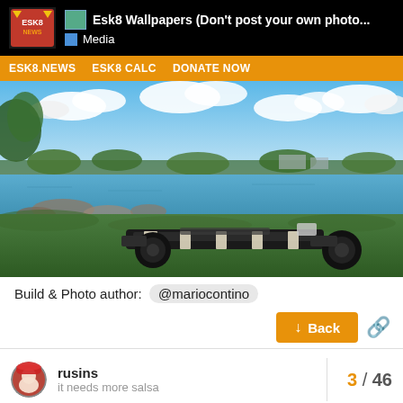Esk8 Wallpapers (Don't post your own photo... | Media
ESK8.NEWS  ESK8 CALC  DONATE NOW
[Figure (photo): Electric skateboard lying on grass near a lake/waterway, with blue sky and clouds above and trees in the background. Wide-angle outdoor photo.]
Build & Photo author: @mariocontino
↓ Back
rusins
it needs more salsa
3 / 46